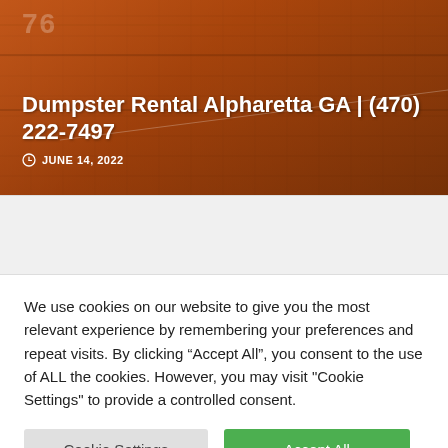[Figure (photo): Orange/rust-colored dumpster or freight container close-up, used as hero banner background image]
Dumpster Rental Alpharetta GA | (470) 222-7497
JUNE 14, 2022
We use cookies on our website to give you the most relevant experience by remembering your preferences and repeat visits. By clicking “Accept All”, you consent to the use of ALL the cookies. However, you may visit "Cookie Settings" to provide a controlled consent.